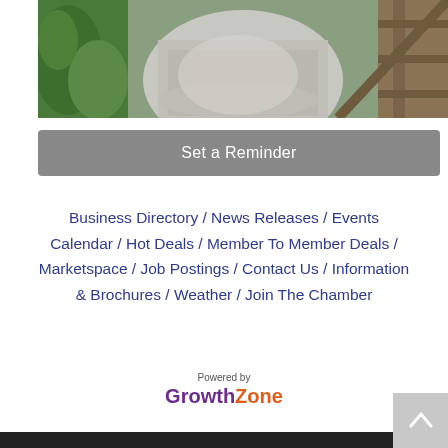[Figure (photo): Photo of a gravel path or driveway with green vegetation on the left and a wooden fence/railing on the right]
Set a Reminder
Business Directory / News Releases / Events Calendar / Hot Deals / Member To Member Deals / Marketspace / Job Postings / Contact Us / Information & Brochures / Weather / Join The Chamber
[Figure (logo): Powered by GrowthZone logo — 'Growth' in purple bold, 'Zone' in orange bold]